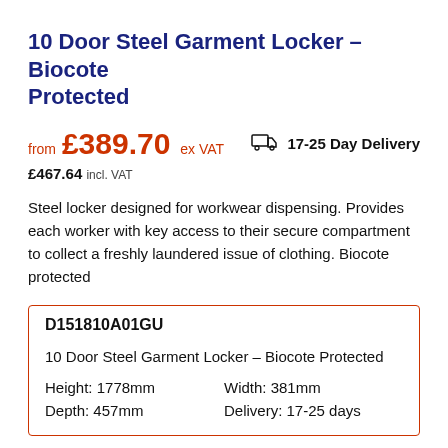10 Door Steel Garment Locker – Biocote Protected
from £389.70 ex VAT   17-25 Day Delivery
£467.64 incl. VAT
Steel locker designed for workwear dispensing. Provides each worker with key access to their secure compartment to collect a freshly laundered issue of clothing. Biocote protected
| D151810A01GU |  |
| 10 Door Steel Garment Locker – Biocote Protected |  |
| Height: 1778mm | Width: 381mm |
| Depth: 457mm | Delivery: 17-25 days |